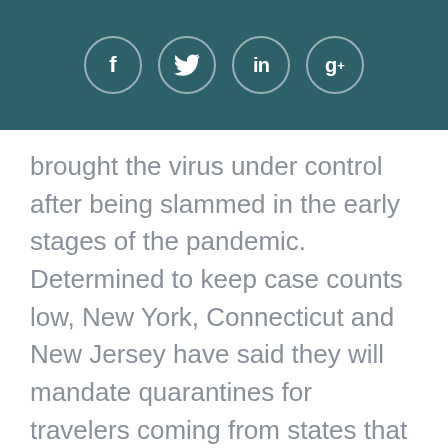[Figure (other): Social media sharing icons: Facebook (f), Twitter (bird), LinkedIn (in), Google+ (g+) displayed as circles on a dark teal header bar]
brought the virus under control after being slammed in the early stages of the pandemic. Determined to keep case counts low, New York, Connecticut and New Jersey have said they will mandate quarantines for travelers coming from states that are experiencing large spikes in new cases, the Times said.
By Monday, the U.S. coronavirus case count passed 3.3 million as the death toll neared 135,000, according to a Times tally.